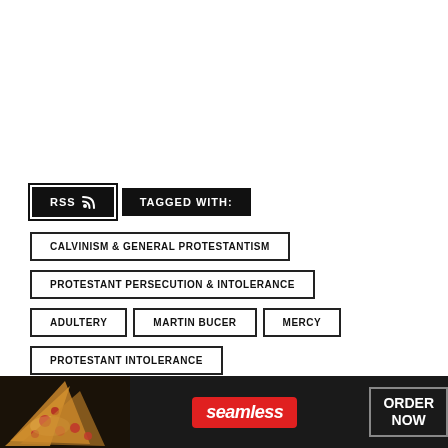RSS  TAGGED WITH:
CALVINISM & GENERAL PROTESTANTISM
PROTESTANT PERSECUTION & INTOLERANCE
ADULTERY
MARTIN BUCER
MERCY
PROTESTANT INTOLERANCE
PROTESTANT PERSECUTION
RELIGIOUS TOLERANCE
[Figure (photo): Seamless food delivery advertisement showing pizza with 'seamless' logo and 'ORDER NOW' button]